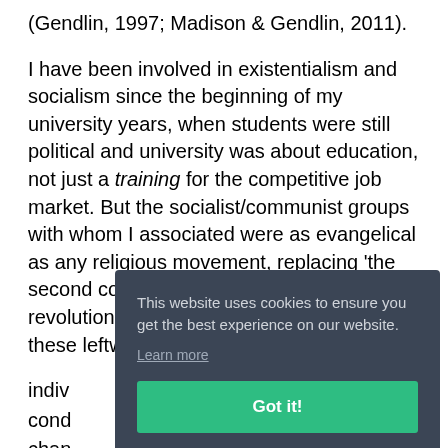(Gendlin, 1997; Madison & Gendlin, 2011).
I have been involved in existentialism and socialism since the beginning of my university years, when students were still political and university was about education, not just a training for the competitive job market. But the socialist/communist groups with whom I associated were as evangelical as any religious movement, replacing 'the second coming' with the ' inevitable workers' revolution'. The dogma and strategising of these leftwing groups left no p[lace for the individual] indiv[idual...] cond[itions...] chan[ge...] disil[lusioned...]
On th[e other hand there] was [an] underlying superiority or even cynicism towards those who
[Figure (screenshot): Cookie consent overlay with dark background (#3b4555). Text reads: 'This website uses cookies to ensure you get the best experience on our website.' with a 'Learn more' underlined link, and a green 'Got it!' button.]